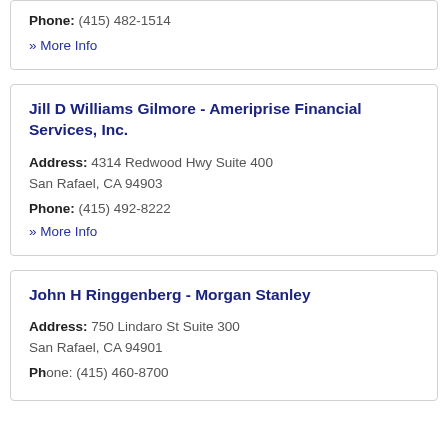Phone: (415) 482-1514
» More Info
Jill D Williams Gilmore - Ameriprise Financial Services, Inc.
Address: 4314 Redwood Hwy Suite 400 San Rafael, CA 94903
Phone: (415) 492-8222
» More Info
John H Ringgenberg - Morgan Stanley
Address: 750 Lindaro St Suite 300 San Rafael, CA 94901
Phone: (415) 460-8700